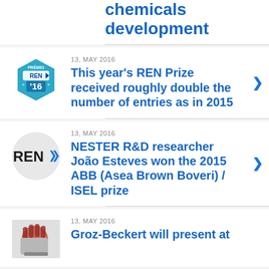chemicals development
13, MAY 2016
This year's REN Prize received roughly double the number of entries as in 2015
13, MAY 2016
NESTER R&D researcher João Esteves won the 2015 ABB (Asea Brown Boveri) / ISEL prize
13, MAY 2016
Groz-Beckert will present at